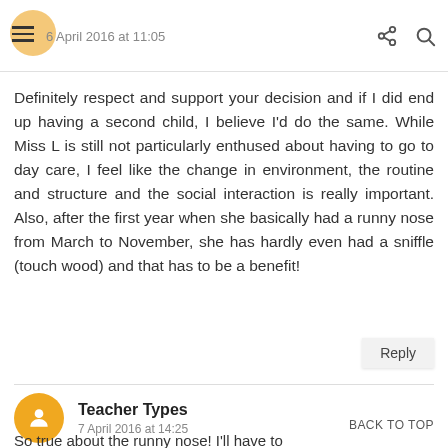6 April 2016 at 11:05
Definitely respect and support your decision and if I did end up having a second child, I believe I'd do the same. While Miss L is still not particularly enthused about having to go to day care, I feel like the change in environment, the routine and structure and the social interaction is really important. Also, after the first year when she basically had a runny nose from March to November, she has hardly even had a sniffle (touch wood) and that has to be a benefit!
Reply
Teacher Types
7 April 2016 at 14:25
BACK TO TOP
So true about the runny nose! I'll have to